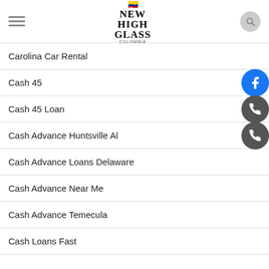New High Glass Colombia
Carolina Car Rental
Cash 45
Cash 45 Loan
Cash Advance Huntsville Al
Cash Advance Loans Delaware
Cash Advance Near Me
Cash Advance Temecula
Cash Loans Fast